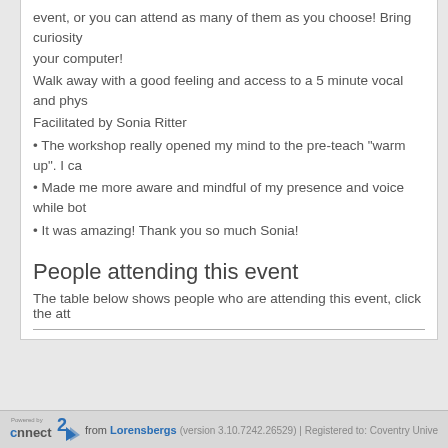event, or you can attend as many of them as you choose! Bring curiosity your computer!
Walk away with a good feeling and access to a 5 minute vocal and phys
Facilitated by Sonia Ritter
The workshop really opened my mind to the pre-teach "warm up". I ca
Made me more aware and mindful of my presence and voice while bot
It was amazing! Thank you so much Sonia!
People attending this event
The table below shows people who are attending this event, click the att
| Name | Email |
| --- | --- |
| No matching attendees found |  |
Powered by connect2 from Lorensbergs (version 3.10.7242.26529) | Registered to: Coventry Unive